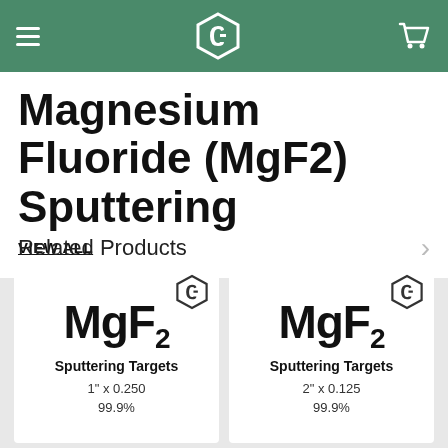Magnesium Fluoride (MgF2) Sputtering
Magnesium Fluoride (MgF2) Sputtering
VIEW ALL
Related Products
[Figure (other): Product card: MgF2 Sputtering Targets, 1" x 0.250, 99.9%]
[Figure (other): Product card: MgF2 Sputtering Targets, 2" x 0.125, 99.9%]